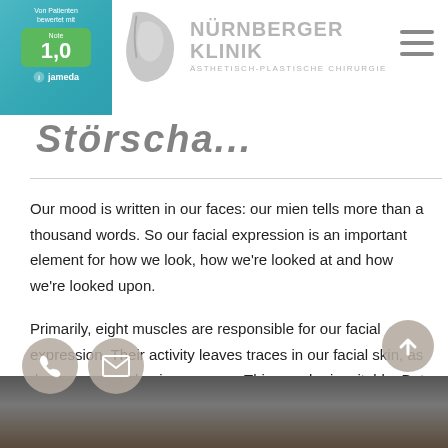[Figure (logo): Jameda rating badge showing score 1,0 with teal/green background, and Nürnberger Klinik logo with head silhouette icon and text 'ÄSTHETISCH-PLASTISCHE CHIRURGIE']
Störscha...
Our mood is written in our faces: our mien tells more than a thousand words. So our facial expression is an important element for how we look, how we're looked at and how we're looked upon.
Primarily, eight muscles are responsible for our facial expression. Their activity leaves traces in our facial skin, as does our natural aging process. This may be inevitable. But a wrinkle treatment using botulinum toxin offers an opportunity to mollify these traces and make them less discernible.
[Figure (photo): Partial view of a person's face/head at the bottom of the page]